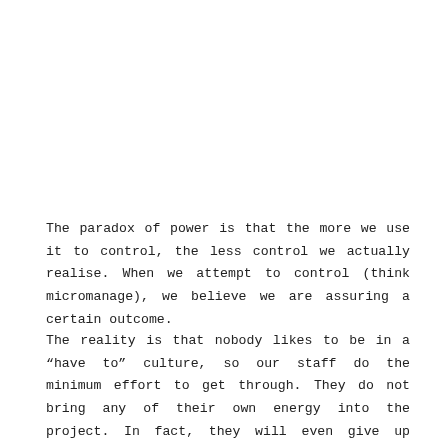The paradox of power is that the more we use it to control, the less control we actually realise. When we attempt to control (think micromanage), we believe we are assuring a certain outcome.
The reality is that nobody likes to be in a “have to” culture, so our staff do the minimum effort to get through. They do not bring any of their own energy into the project. In fact, they will even give up accountably for the final product. When the outcome is not correct or short of target, our staff say, “I did it